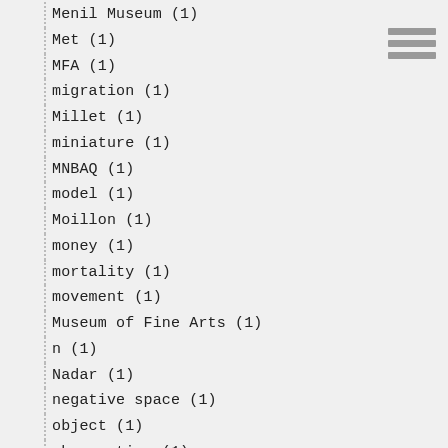Menil Museum (1)
Met (1)
MFA (1)
migration (1)
Millet (1)
miniature (1)
MNBAQ (1)
model (1)
Moillon (1)
money (1)
mortality (1)
movement (1)
Museum of Fine Arts (1)
n (1)
Nadar (1)
negative space (1)
object (1)
observation (1)
ochre (1)